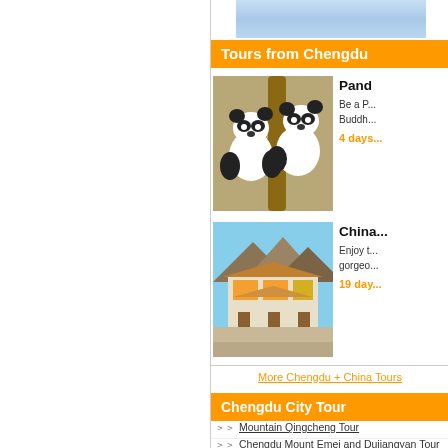[Figure (photo): Top banner photo, partially visible, appears to be a blue sky or landscape image]
Tours from Chengdu
[Figure (photo): Photo of two giant pandas climbing a tree]
Panda...
Be a P... Buddh...
4 days...
[Figure (photo): Photo of a Tibetan-style monastery with mountains in background]
China...
Enjoy t... gorged...
19 day...
More Chengdu + China Tours
Chengdu City Tour
Mountain Qingcheng Tour
Chengdu Mount Emei and Dujiangyan Tour
Leshan Giant Buddha and Mt Emei Visit
More Chengdu day tour